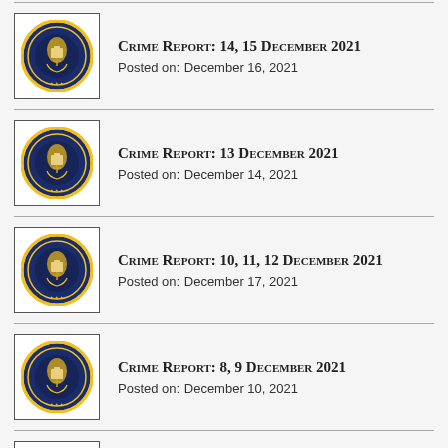Crime Report: 14, 15 December 2021
Posted on: December 16, 2021
Crime Report: 13 December 2021
Posted on: December 14, 2021
Crime Report: 10, 11, 12 December 2021
Posted on: December 17, 2021
Crime Report: 8, 9 December 2021
Posted on: December 10, 2021
Crime Report: 6, 7 December 2021
Posted on: December 8, 2021
Crime Report: 3, 4, 5 December